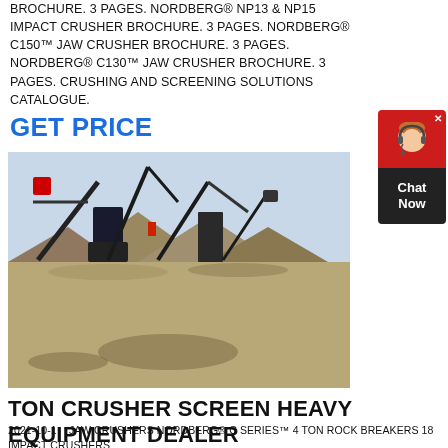BROCHURE. 3 PAGES. NORDBERG® NP13 & NP15 IMPACT CRUSHER BROCHURE. 3 PAGES. NORDBERG® C150™ JAW CRUSHER BROCHURE. 3 PAGES. NORDBERG® C130™ JAW CRUSHER BROCHURE. 3 PAGES. CRUSHING AND SCREENING SOLUTIONS CATALOGUE.
GET PRICE
[Figure (photo): Industrial crushing and screening equipment at a quarry/mining site with large machinery including conveyors and jaw crushers, with piles of crushed rock/aggregate in the background.]
TON CRUSHER SCREEN HEAVY EQUIPMENT DEALER
2021-10-1   JAW CRUSHERS NORDBERG® C SERIES™ 4 TON ROCK BREAKERS 18 IMPACT CRUSHERS